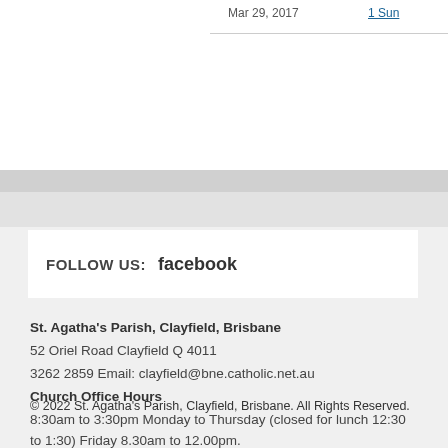Mar 29, 2017   1 Sun
FOLLOW US:  facebook
St. Agatha's Parish, Clayfield, Brisbane
52 Oriel Road Clayfield Q 4011
3262 2859 Email: clayfield@bne.catholic.net.au
Church Office Hours
8:30am to 3:30pm Monday to Thursday (closed for lunch 12:30 to 1:30) Friday 8.30am to 12.00pm.
© 2022 St. Agatha's Parish, Clayfield, Brisbane. All Rights Reserved.